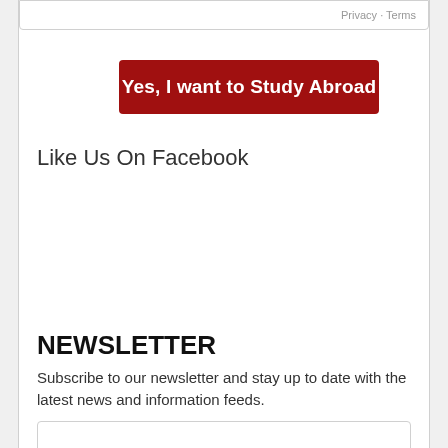Privacy · Terms
Yes, I want to Study Abroad
Like Us On Facebook
NEWSLETTER
Subscribe to our newsletter and stay up to date with the latest news and information feeds.